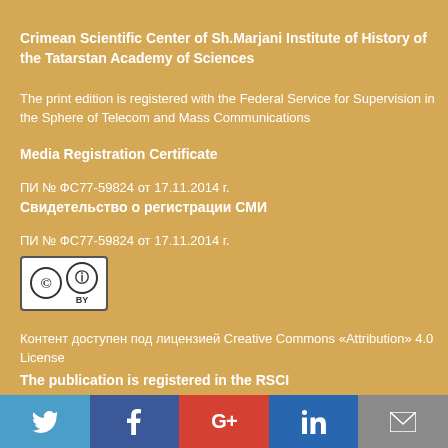Crimean Scientific Center of Sh.Marjani Institute of History of the Tatarstan Academy of Sciences
The print edition is registered with the Federal Service for Supervision in the Sphere of Telecom and Mass Communications
Media Registration Certificate
ПИ № ФС77-59824 от 17.11.2014 г.
Свидетельство о регистрации СМИ
ПИ № ФС77-59824 от 17.11.2014 г.
[Figure (logo): Creative Commons Attribution (CC BY) license badge]
Контент доступен под лицензией Creative Commons «Attribution» 4.0 License
The publication is registered in the RSCI